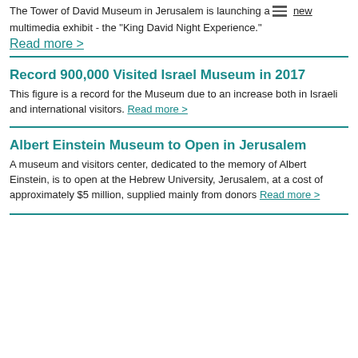The Tower of David Museum in Jerusalem is launching a new multimedia exhibit - the "King David Night Experience."
Read more >
Record 900,000 Visited Israel Museum in 2017
This figure is a record for the Museum due to an increase both in Israeli and international visitors. Read more >
Albert Einstein Museum to Open in Jerusalem
A museum and visitors center, dedicated to the memory of Albert Einstein, is to open at the Hebrew University, Jerusalem, at a cost of approximately $5 million, supplied mainly from donors Read more >